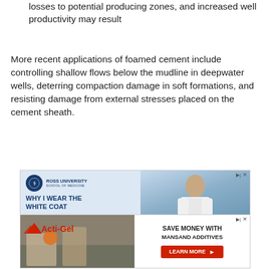losses to potential producing zones, and increased well productivity may result
More recent applications of foamed cement include controlling shallow flows below the mudline in deepwater wells, deterring compaction damage in soft formations, and resisting damage from external stresses placed on the cement sheath.
[Figure (other): Advertisement for Ross University School of Medicine featuring a student in a white coat. Text reads: WHY I WEAR THE WHITE COAT, "To be an advocate for change", Tyeler Checkley, RUSM Class of '25. © 2022 Ross University School of Medicine. All rights reserved.]
[Figure (other): Advertisement for Acti-Gel product. Left side shows construction workers and cement/concrete materials. Right side shows text: SAVE MONEY WITH MANSAND ADDITIVES with a red LEARN MORE button.]